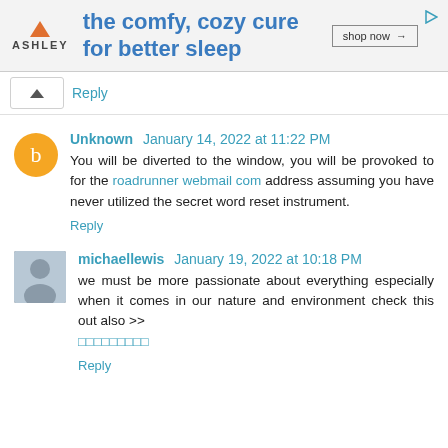[Figure (screenshot): Ashley Furniture advertisement banner: orange triangle logo, tagline 'the comfy, cozy cure for better sleep', 'shop now →' button]
Reply
Unknown  January 14, 2022 at 11:22 PM
You will be diverted to the window, you will be provoked to for the roadrunner webmail com address assuming you have never utilized the secret word reset instrument.
Reply
michaellewis  January 19, 2022 at 10:18 PM
we must be more passionate about everything especially when it comes in our nature and environment check this out also >>
□□□□□□□□□
Reply